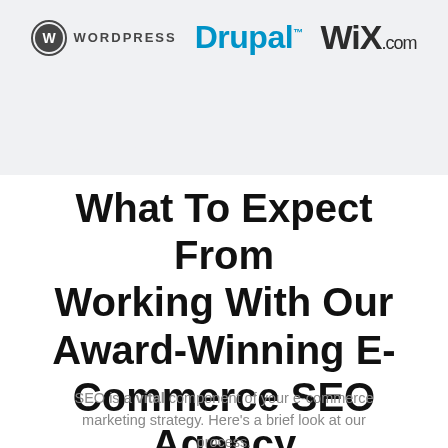[Figure (logo): WordPress, Drupal, and Wix.com logos displayed in a light grey header banner with wave bottom edge]
What To Expect From Working With Our Award-Winning E-Commerce SEO Agency
SEO is a vital component of your e-commerce marketing strategy. Here's a brief look at our process.